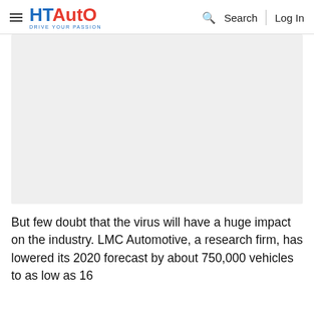HT Auto - Drive Your Passion | Search | Log In
[Figure (photo): Large image placeholder area with light gray background, representing an article image]
But few doubt that the virus will have a huge impact on the industry. LMC Automotive, a research firm, has lowered its 2020 forecast by about 750,000 vehicles to as low as 16 million...